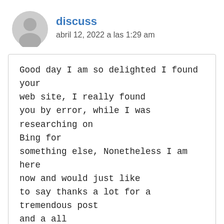discuss
abril 12, 2022 a las 1:29 am
Good day I am so delighted I found your web site, I really found you by error, while I was researching on Bing for something else, Nonetheless I am here now and would just like to say thanks a lot for a tremendous post and a all round exciting blog (I also love the theme/design), I don't have time to browse it all at the minute but I have book-marked it and also included your RSS feeds, so when I have time I will be back to read much more,
Please do keep up the superb work.